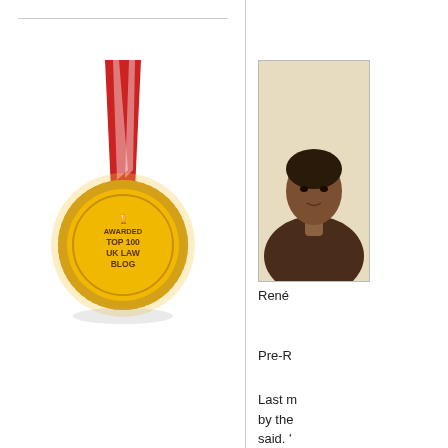[Figure (illustration): Gold medal with red and white ribbon, text reading AWARDED TOP 100 UK LAW BLOG]
[Figure (photo): Portrait photo of René, a person in dark clothing against a light/beige background]
René
Pre-R
Last m by the said. '